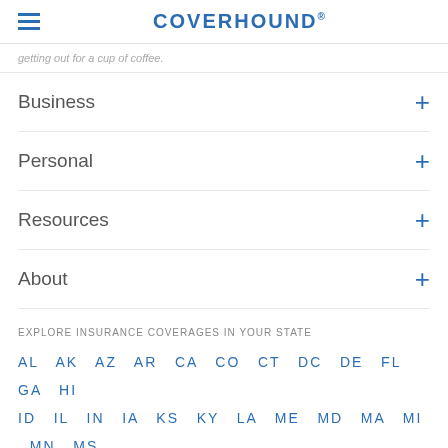COVERHOUND®
getting out for a cup of coffee.
Business
Personal
Resources
About
EXPLORE INSURANCE COVERAGES IN YOUR STATE
AL  AK  AZ  AR  CA  CO  CT  DC  DE  FL  GA  HI  ID  IL  IN  IA  KS  KY  LA  ME  MD  MA  MI  MN  MS